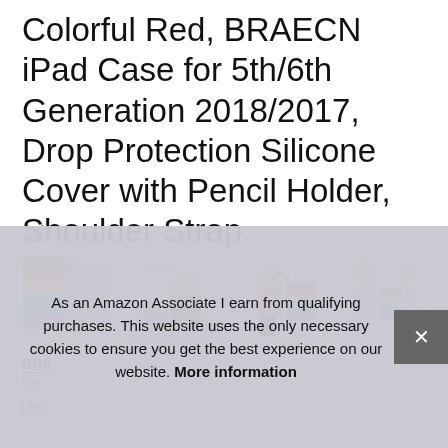Colorful Red, BRAECN iPad Case for 5th/6th Generation 2018/2017, Drop Protection Silicone Cover with Pencil Holder, Shoulder Strap
#ad
[Figure (photo): Four product thumbnail images of a colorful rainbow iPad case with various features shown including pencil holder, kickstand, shoulder strap, and children using the case.]
BRA
5th
plea...
As an Amazon Associate I earn from qualifying purchases. This website uses the only necessary cookies to ensure you get the best experience on our website. More information